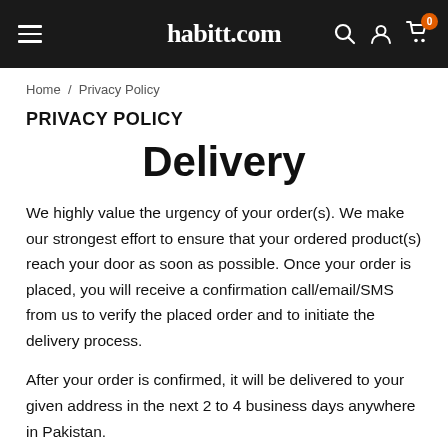habitt.com
Home / Privacy Policy
PRIVACY POLICY
Delivery
We highly value the urgency of your order(s). We make our strongest effort to ensure that your ordered product(s) reach your door as soon as possible. Once your order is placed, you will receive a confirmation call/email/SMS from us to verify the placed order and to initiate the delivery process.
After your order is confirmed, it will be delivered to your given address in the next 2 to 4 business days anywhere in Pakistan.